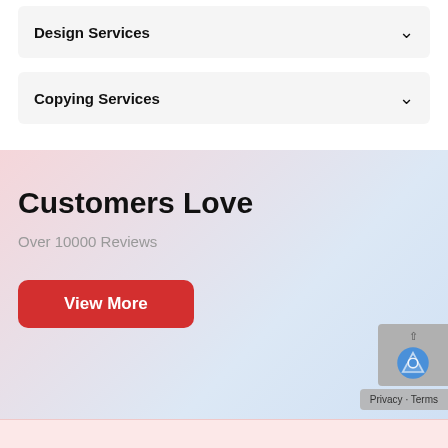Design Services
Copying Services
Customers Love
Over 10000 Reviews
View More
Privacy · Terms